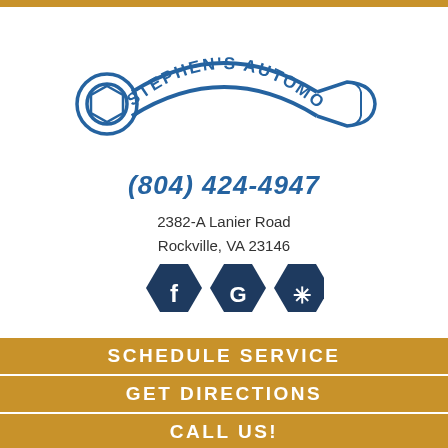[Figure (logo): Stephen's Automotive, LLC logo featuring a wrench shape with text arched above reading STEPHEN'S AUTOMOTIVE, LLC in blue]
(804) 424-4947
2382-A Lanier Road
Rockville, VA 23146
[Figure (illustration): Three dark blue hexagon icons for Facebook (f), Google (G), and Yelp (asterisk/star) social media]
SCHEDULE SERVICE
GET DIRECTIONS
CALL US!